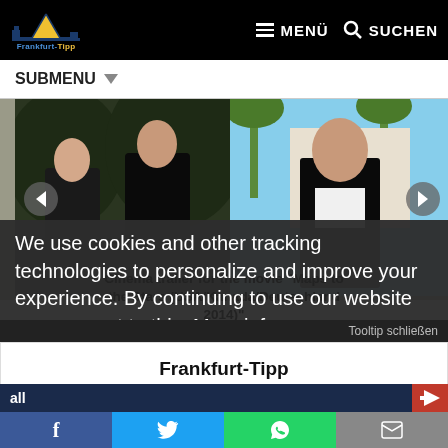Frankfurt-Tipp  MENÜ  SUCHEN
SUBMENU ▼
[Figure (screenshot): Two movie still images side by side showing actors, with left and right carousel navigation arrows overlaid]
Cinema trailer for the movie "Maps to the Stars (USA/Kanada/Deutschland 2014)"
We use cookies and other tracking technologies to personalize and improve your experience. By continuing to use our website you consent to this. More info
Tooltip schließen
Frankfurt-Tipp auf einen Klick!
Einfach auf das Symbol tippen und zum Home-Bildschirm hinzufügen.
Facebook  Twitter  WhatsApp  Share